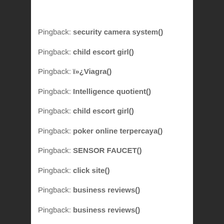Pingback: security camera system()
Pingback: child escort girl()
Pingback: ï»¿Viagra()
Pingback: Intelligence quotient()
Pingback: child escort girl()
Pingback: poker online terpercaya()
Pingback: SENSOR FAUCET()
Pingback: click site()
Pingback: business reviews()
Pingback: business reviews()